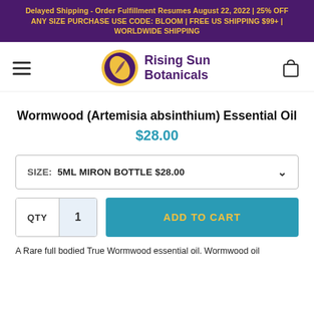Delayed Shipping - Order Fulfillment Resumes August 22, 2022 | 25% OFF ANY SIZE PURCHASE USE CODE: BLOOM | FREE US SHIPPING $99+ | WORLDWIDE SHIPPING
[Figure (logo): Rising Sun Botanicals logo: purple circle with gold leaf, text 'Rising Sun Botanicals' in purple]
Wormwood (Artemisia absinthium) Essential Oil
$28.00
SIZE: 5ML MIRON BOTTLE $28.00
QTY  1  ADD TO CART
A Rare full bodied True Wormwood essential oil. Wormwood oil